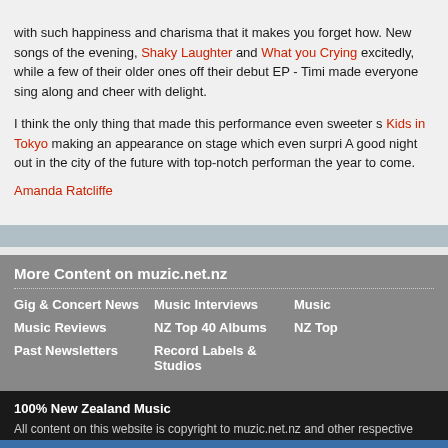with such happiness and charisma that it makes you forget how... New songs of the evening, Shaky Laughter and What you Crying excitedly, while a few of their older ones off their debut EP - Timi... made everyone sing along and cheer with delight.
I think the only thing that made this performance even sweeter s... Kids in Tokyo making an appearance on stage which even surpri... A good night out in the city of the future with top-notch performan... the year to come.
Amanda Ratcliffe
More Content on muzic.net.nz
Gig & Concert News
Music Interviews
Music
Music Reviews
NZ Top 40 Albums
NZ Top
Past Newsletters
Record Labels & Studios
100% New Zealand Music
All content on this website is copyright to muzic.net.nz and other respective rights holders. Redistribution of any material presented here without permission is prohibited.
Report A Problem